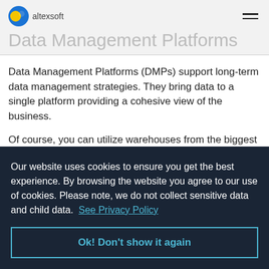altexsoft
Data Management Platforms
Data Management Platforms (DMPs) support long-term data management strategies. They bring data to a single platform providing a cohesive view of the business.
Of course, you can utilize warehouses from the biggest cloud vendors like Amazon Redshift, Google BigQuery, and MS Azure SQL Server. However, they are also considered difficult
Our website uses cookies to ensure you get the best experience. By browsing the website you agree to our use of cookies. Please note, we do not collect sensitive data and child data.  See Privacy Policy
Ok! Don't show it again